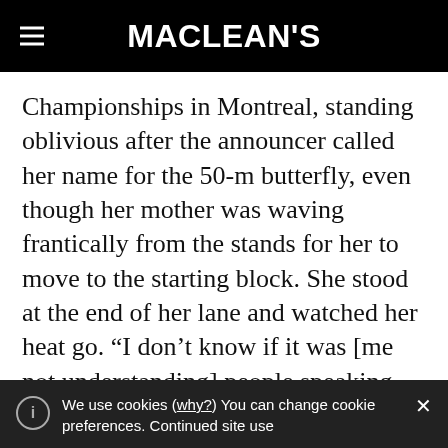MACLEAN'S
Championships in Montreal, standing oblivious after the announcer called her name for the 50-m butterfly, even though her mother was waving frantically from the stands for her to move to the starting block. She stood at the end of her lane and watched her heat go. “I don’t know if it was [me not understanding] people speaking French or if I was overwhelmed, but I completely missed the race,” she says.
We use cookies (why?) You can change cookie preferences. Continued site use